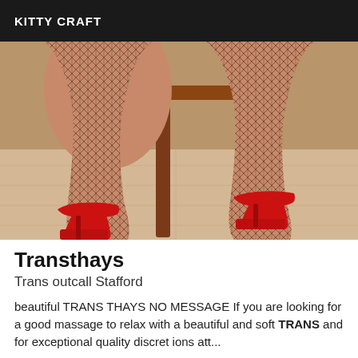KITTY CRAFT
[Figure (photo): Photo showing legs in fishnet stockings and red high heels seated near a wooden table on a light wood floor]
Transthays
Trans outcall Stafford
beautiful TRANS THAYS NO MESSAGE If you are looking for a good massage to relax with a beautiful and soft TRANS and for exceptional quality discret ions att...